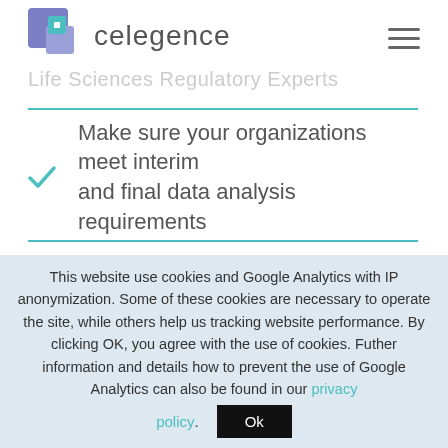celegence
Make sure your organizations meet interim and final data analysis requirements
This website use cookies and Google Analytics with IP anonymization. Some of these cookies are necessary to operate the site, while others help us tracking website performance. By clicking OK, you agree with the use of cookies. Futher information and details how to prevent the use of Google Analytics can also be found in our privacy policy.